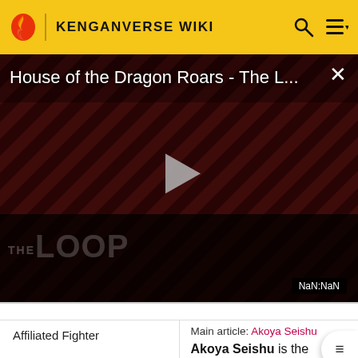KENGANVERSE WIKI
[Figure (screenshot): Video player showing 'House of the Dragon Roars - The L...' with a play button and 'THE LOOP' branding, dark background with diagonal red stripes, NaN:NaN timer badge]
| Affiliated Fighter | Main article: Akoya Seishu
Akoya Seishu is the Captain of the 44th Riot |